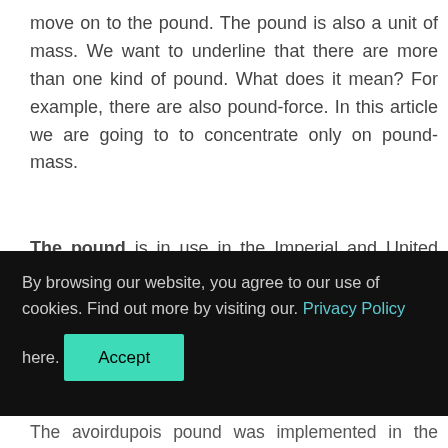move on to the pound. The pound is also a unit of mass. We want to underline that there are more than one kind of pound. What does it mean? For example, there are also pound-force. In this article we are going to to concentrate only on pound-mass.
The pound is in use in the Imperial and United States customary systems of measurements. Naturally, this unit is used also in other systems. The symbol of the pound is lb or ".
The precise and exact definition of the international...
By browsing our website, you agree to our use of cookies. Find out more by visiting our. Privacy Policy here. [Accept]
The avoirdupois pound was implemented in the Weights